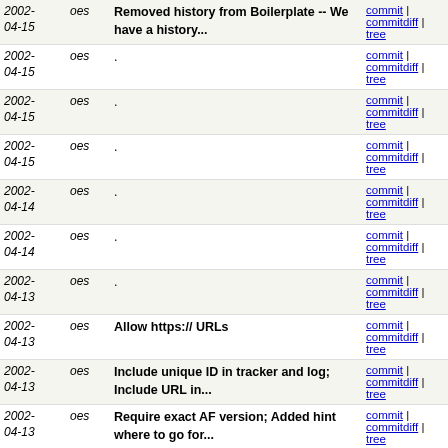| Date | Author | Message | Links |
| --- | --- | --- | --- |
| 2002-04-15 | oes | Removed history from Boilerplate -- We have a history... | commit | commitdiff | tree |
| 2002-04-15 | oes | . | commit | commitdiff | tree |
| 2002-04-15 | oes | . | commit | commitdiff | tree |
| 2002-04-15 | oes | . | commit | commitdiff | tree |
| 2002-04-14 | oes | . | commit | commitdiff | tree |
| 2002-04-14 | oes | . | commit | commitdiff | tree |
| 2002-04-13 | oes | . | commit | commitdiff | tree |
| 2002-04-13 | oes | Allow https:// URLs | commit | commitdiff | tree |
| 2002-04-13 | oes | Include unique ID in tracker and log; Include URL in... | commit | commitdiff | tree |
| 2002-04-13 | oes | Require exact AF version; Added hint where to go for... | commit | commitdiff | tree |
| 2002-04-12 | oes | Excluding yet more files from tarball; making dist... | commit | commitdiff | tree |
| 2002-04-11 | oes | Excluding more files from tarball build | commit | commitdiff | tree |
| 2002-04-11 | oes | Fixed(?) Conflicts: Provides: Obsoletes: | commit | commitdiff | tree |
| 2002-04-... | oes | Fixed typo -- Thanks, Moritz! | commit | |